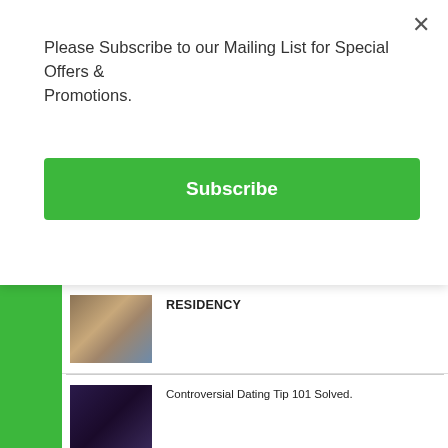Please Subscribe to our Mailing List for Special Offers & Promotions.
Subscribe
RESIDENCY
Controversial Dating Tip 101 Solved.
Who is Tobi Amusan? The World Athletics Championship competition held a competition at Oregon, United States of America in 2022.
23 WAYS AND THINGS TO DO TO KEEP YOUR HUSBAND